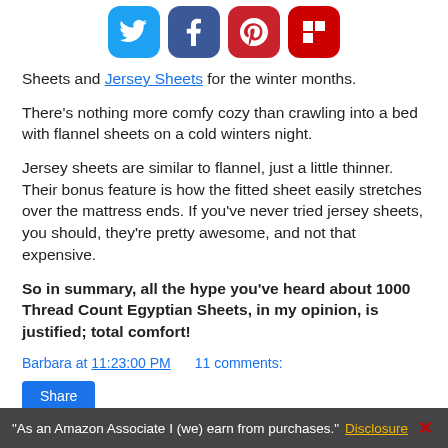[Figure (other): Social sharing icons bar: Twitter (blue bird), Facebook (blue f), Pinterest (red P), Flipboard (red F)]
…Sheets and Jersey Sheets for the winter months.
There's nothing more comfy cozy than crawling into a bed with flannel sheets on a cold winters night.
Jersey sheets are similar to flannel, just a little thinner. Their bonus feature is how the fitted sheet easily stretches over the mattress ends. If you've never tried jersey sheets, you should, they're pretty awesome, and not that expensive.
So in summary, all the hype you've heard about 1000 Thread Count Egyptian Sheets, in my opinion, is justified; total comfort!
Barbara at 11:23:00 PM    11 comments:
Share
"As an Amazon Associate I (we) earn from purchases." Disclosure ✕